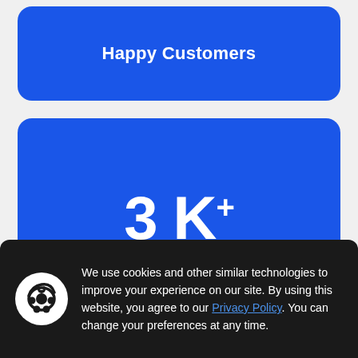Happy Customers
3 K+
Mobile Apps Installed
We use cookies and other similar technologies to improve your experience on our site. By using this website, you agree to our Privacy Policy. You can change your preferences at any time.